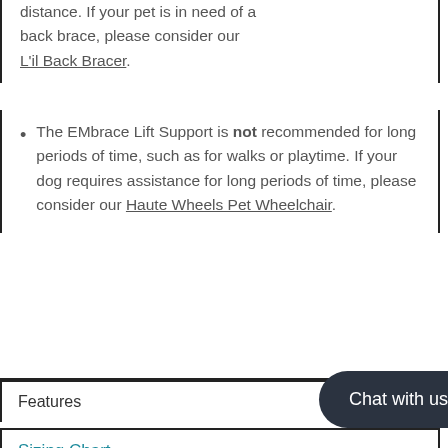distance. If your pet is in need of a back brace, please consider our L'il Back Bracer.
The EMbrace Lift Support is not recommended for long periods of time, such as for walks or playtime. If your dog requires assistance for long periods of time, please consider our Haute Wheels Pet Wheelchair.
Features
Sizing Chart
Use & Care